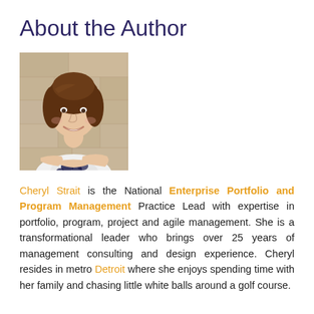About the Author
[Figure (photo): Professional headshot of Cheryl Strait, a woman with brown hair, wearing a white and navy floral top, arms crossed, smiling in front of a stone background.]
Cheryl Strait is the National Enterprise Portfolio and Program Management Practice Lead with expertise in portfolio, program, project and agile management. She is a transformational leader who brings over 25 years of management consulting and design experience. Cheryl resides in metro Detroit where she enjoys spending time with her family and chasing little white balls around a golf course.